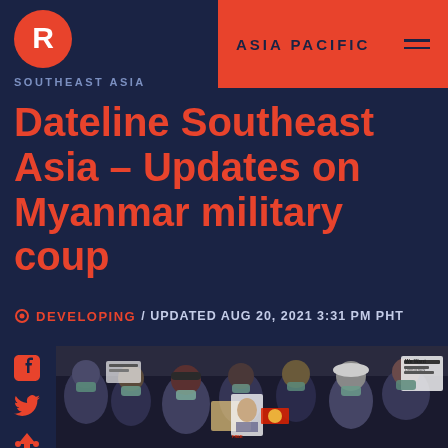[Figure (logo): Rappler logo - red circle with R letter]
SOUTHEAST ASIA
ASIA PACIFIC
Dateline Southeast Asia – Updates on Myanmar military coup
DEVELOPING / UPDATED AUG 20, 2021 3:31 PM PHT
[Figure (photo): Crowd of protesters wearing face masks holding signs and placards about Myanmar democracy, some signs reading 'We Want']